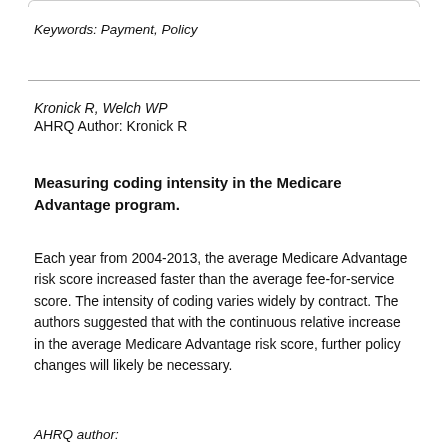Keywords: Payment, Policy
Kronick R, Welch WP
AHRQ Author: Kronick R
Measuring coding intensity in the Medicare Advantage program.
Each year from 2004-2013, the average Medicare Advantage risk score increased faster than the average fee-for-service score. The intensity of coding varies widely by contract. The authors suggested that with the continuous relative increase in the average Medicare Advantage risk score, further policy changes will likely be necessary.
AHRQ author: